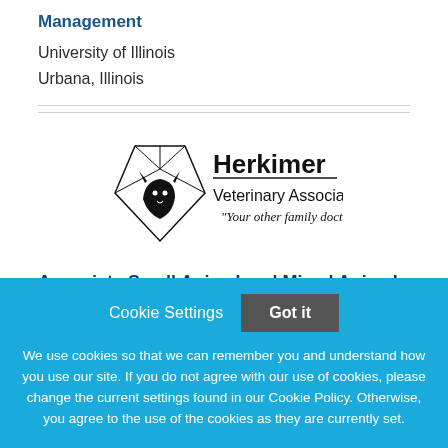Management
University of Illinois
Urbana, Illinois
[Figure (logo): Herkimer Veterinary Associates logo with diamond shape containing animal silhouette and text 'Your other family doctor']
Associate Small Animal and Mixed Animal
Cookie Settings
Got it
We use cookies so that we can remember you and understand how you use our site. If you do not agree with our use of cookies, please change the current settings found in our Cookie Policy. Otherwise, you agree to the use of the cookies as they are currently set.